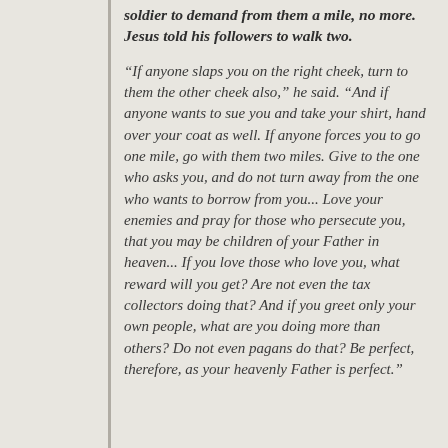soldier to demand from them a mile, no more. Jesus told his followers to walk two.
“If anyone slaps you on the right cheek, turn to them the other cheek also,” he said. “And if anyone wants to sue you and take your shirt, hand over your coat as well. If anyone forces you to go one mile, go with them two miles. Give to the one who asks you, and do not turn away from the one who wants to borrow from you... Love your enemies and pray for those who persecute you, that you may be children of your Father in heaven... If you love those who love you, what reward will you get? Are not even the tax collectors doing that? And if you greet only your own people, what are you doing more than others? Do not even pagans do that? Be perfect, therefore, as your heavenly Father is perfect.”